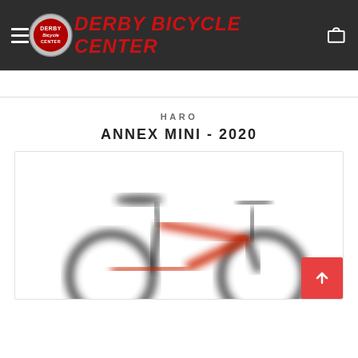Derby Bicycle Center
HARO
ANNEX MINI - 2020
[Figure (photo): Blurred photo of a red and black BMX bicycle (Haro Annex Mini 2020) shown from the side, partially cropped at the bottom.]